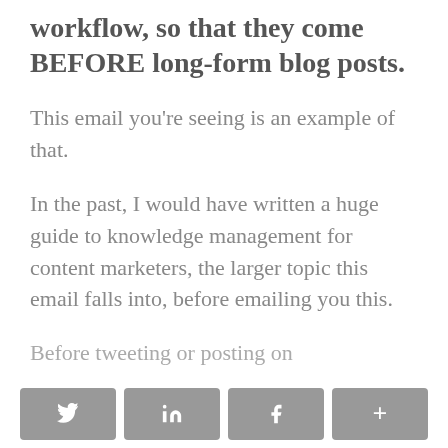workflow, so that they come BEFORE long-form blog posts.
This email you're seeing is an example of that.
In the past, I would have written a huge guide to knowledge management for content marketers, the larger topic this email falls into, before emailing you this.
Before tweeting or posting on